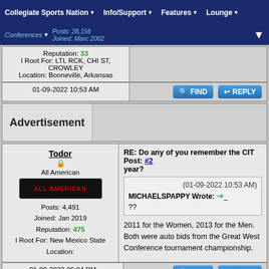Collegiate Sports Nation | Info/Support | Features | Lounge | Conferences
Posts: 28,156 | Joined: Marc 2002
Reputation: 33 | I Root For: LTL RCK, CHI ST, CROWLEY | Location: Booneville, Arkansas
01-09-2022 10:53 AM
Advertisement
Todor | All American | Posts: 4,491 | Joined: Jan 2019 | Reputation: 475 | I Root For: New Mexico State | Location:
RE: Do any of you remember the CIT year? Post: #2
(01-09-2022 10:53 AM) MICHAELSPAPPY Wrote: ??
2011 for the Women, 2013 for the Men. Both were auto bids from the Great West Conference tournament championship.
01-09-2022 06:04 PM